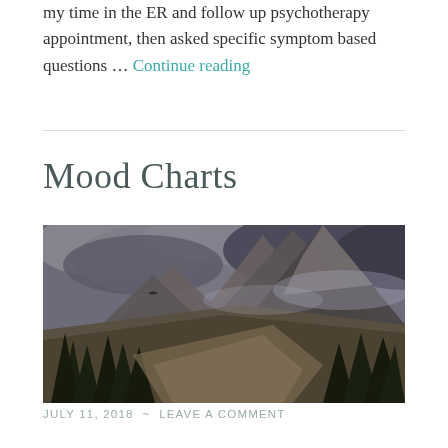my time in the ER and follow up psychotherapy appointment, then asked specific symptom based questions … Continue reading
Mood Charts
[Figure (photo): Dramatic mountain landscape with dark storm clouds, pine trees in foreground, rocky peaks partially obscured by mist]
JULY 11, 2018  ~  LEAVE A COMMENT